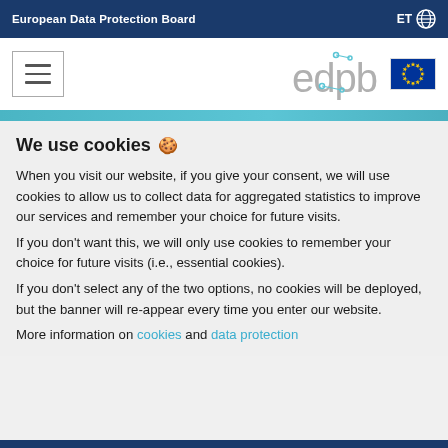European Data Protection Board
[Figure (logo): EDPB logo with EU flag and hamburger menu icon]
We use cookies 🍪
When you visit our website, if you give your consent, we will use cookies to allow us to collect data for aggregated statistics to improve our services and remember your choice for future visits.
If you don't want this, we will only use cookies to remember your choice for future visits (i.e., essential cookies).
If you don't select any of the two options, no cookies will be deployed, but the banner will re-appear every time you enter our website.
More information on cookies and data protection